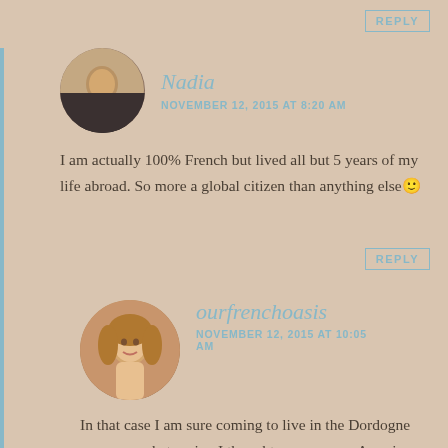REPLY
Nadia
NOVEMBER 12, 2015 AT 8:20 AM
I am actually 100% French but lived all but 5 years of my life abroad. So more a global citizen than anything else 🙂
REPLY
ourfrenchoasis
NOVEMBER 12, 2015 AT 10:05 AM
In that case I am sure coming to live in the Dordogne was somewhat easier, I thought you were an American coming to live here and being very brave! But I am sure you are still enjoying this